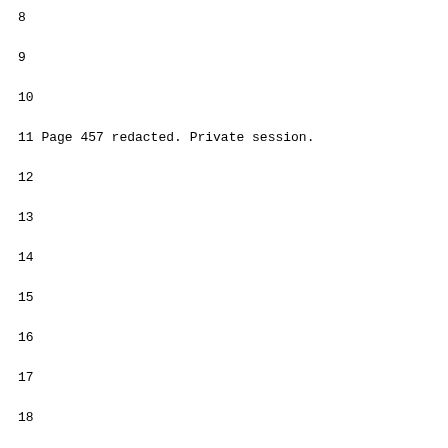8
9
10
11 Page 457 redacted. Private session.
12
13
14
15
16
17
18